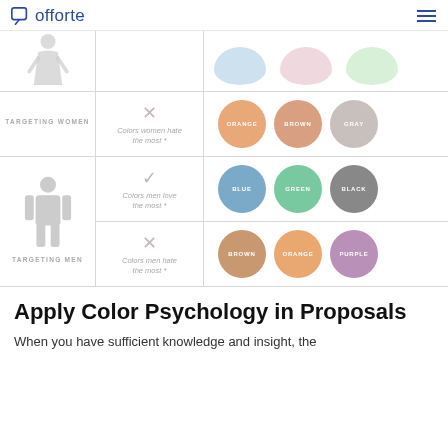offorte
[Figure (infographic): Color psychology infographic showing colors women and men love vs hate. Top partial row shows faded circles. Targeting Women row: Colors women hate the most - Orange, Brown, Gray circles. Targeting Men row: Colors men love the most - Blue, Green, Black circles; Colors men hate the most - Brown, Orange, Purple circles.]
Apply Color Psychology in Proposals
When you have sufficient knowledge and insight, the